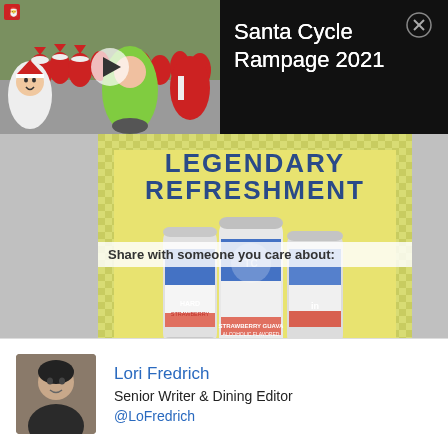[Figure (screenshot): Video thumbnail showing people in Santa costumes cycling on a street, with a play button overlay]
Santa Cycle Rampage 2021
[Figure (advertisement): Topo Chico Hard Seltzer advertisement with yellow checkered background showing 'LEGENDARY REFRESHMENT', cans of Topo Chico Hard Seltzer Strawberry Guava, and social sharing icons for Twitter, LinkedIn, and email]
Share with someone you care about:
LEGENDARY REFRESHMENT
HARD SELTZER
STRAWBERRY GUAVA
CELEBRATE RESPONSIBLY®
[Figure (photo): Headshot of Lori Fredrich]
Lori Fredrich
Senior Writer & Dining Editor
@LoFredrich